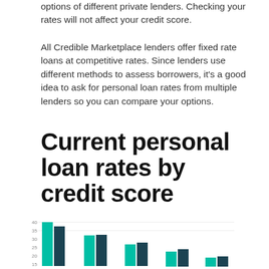options of different private lenders. Checking your rates will not affect your credit score.
All Credible Marketplace lenders offer fixed rate loans at competitive rates. Since lenders use different methods to assess borrowers, it's a good idea to ask for personal loan rates from multiple lenders so you can compare your options.
Current personal loan rates by credit score
[Figure (grouped-bar-chart): Grouped bar chart showing personal loan rates by credit score ranges, with teal and dark teal bars for each category. Bars visible for multiple credit score ranges, partially cropped at bottom of page.]